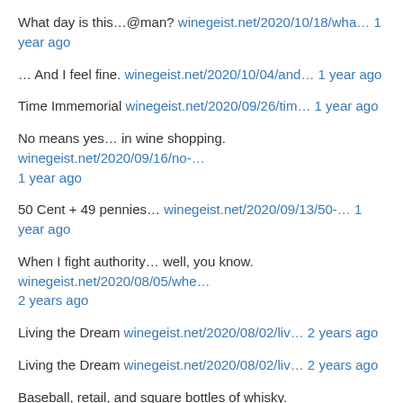What day is this…@man? winegeist.net/2020/10/18/wha… 1 year ago
… And I feel fine. winegeist.net/2020/10/04/and… 1 year ago
Time Immemorial winegeist.net/2020/09/26/tim… 1 year ago
No means yes… in wine shopping. winegeist.net/2020/09/16/no-… 1 year ago
50 Cent + 49 pennies… winegeist.net/2020/09/13/50-… 1 year ago
When I fight authority… well, you know. winegeist.net/2020/08/05/whe… 2 years ago
Living the Dream winegeist.net/2020/08/02/liv… 2 years ago
Living the Dream winegeist.net/2020/08/02/liv… 2 years ago
Baseball, retail, and square bottles of whisky. winegeist.net/2020/07/24/bas… 2 years ago
Down and Out on Atlantic Avenue winegeist.net/2020/07/20/dow…